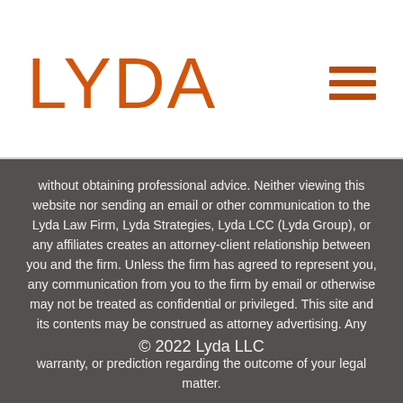LYDA
without obtaining professional advice. Neither viewing this website nor sending an email or other communication to the Lyda Law Firm, Lyda Strategies, Lyda LCC (Lyda Group), or any affiliates creates an attorney-client relationship between you and the firm. Unless the firm has agreed to represent you, any communication from you to the firm by email or otherwise may not be treated as confidential or privileged. This site and its contents may be construed as attorney advertising. Any testimonials or endorsements do not constitute a guarantee, warranty, or prediction regarding the outcome of your legal matter.
© 2022 Lyda LLC